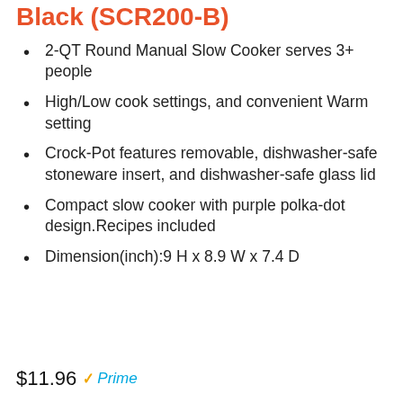Black (SCR200-B)
2-QT Round Manual Slow Cooker serves 3+ people
High/Low cook settings, and convenient Warm setting
Crock-Pot features removable, dishwasher-safe stoneware insert, and dishwasher-safe glass lid
Compact slow cooker with purple polka-dot design.Recipes included
Dimension(inch):9 H x 8.9 W x 7.4 D
$11.96 Prime